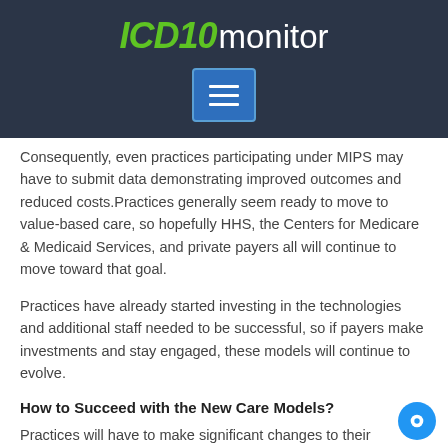ICD10monitor
[Figure (other): Hamburger menu button icon in blue square]
Consequently, even practices participating under MIPS may have to submit data demonstrating improved outcomes and reduced costs.Practices generally seem ready to move to value-based care, so hopefully HHS, the Centers for Medicare & Medicaid Services, and private payers all will continue to move toward that goal.
Practices have already started investing in the technologies and additional staff needed to be successful, so if payers make investments and stay engaged, these models will continue to evolve.
How to Succeed with the New Care Models?
Practices will have to make significant changes to their